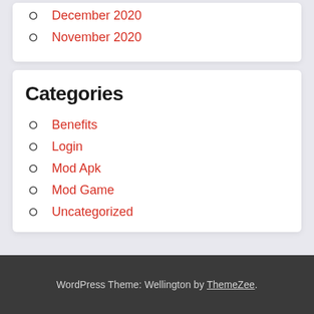December 2020
November 2020
Categories
Benefits
Login
Mod Apk
Mod Game
Uncategorized
WordPress Theme: Wellington by ThemeZee.